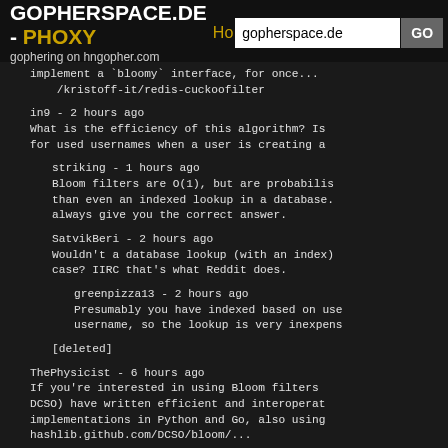GOPHERSPACE.DE - PHOXY | gophering on hngopher.com | [input: gopherspace.de] [GO]
implement a `bloomy` interface, for once...
/kristoff-it/redis-cuckoofilter
in9 - 2 hours ago
What is the efficiency of this algorithm? Is it good for used usernames when a user is creating a...
striking - 1 hours ago
Bloom filters are O(1), but are probabilis... than even an indexed lookup in a database. always give you the correct answer.
SatvikBeri - 2 hours ago
Wouldn't a database lookup (with an index) case? IIRC that's what Reddit does.
greenpizza13 - 2 hours ago
Presumably you have indexed based on use... username, so the lookup is very inexpens...
[deleted]
ThePhysicist - 6 hours ago
If you're interested in using Bloom filters... DCSO) have written efficient and interoperat... implementations in Python and Go, also using... hashlib.github.com/DCSO/bloom/...